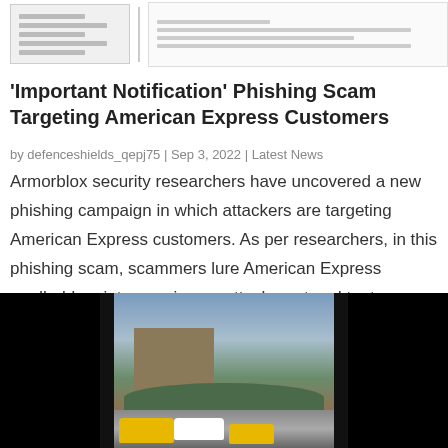[Figure (screenshot): Two screenshots of document/interface previews side by side]
‘Important Notification’ Phishing Scam Targeting American Express Customers
by defenceshields_qepj75 | Sep 3, 2022 | Latest News
Armorblox security researchers have uncovered a new phishing campaign in which attackers are targeting American Express customers. As per researchers, in this phishing scam, scammers lure American Express cardholders into opening an attachment and try to steal…
[Figure (photo): City street scene with cars in traffic, buildings and trees in background, dark borders on left and right sides]